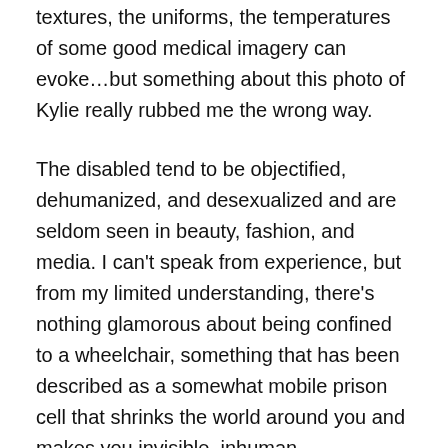textures, the uniforms, the temperatures of some good medical imagery can evoke…but something about this photo of Kylie really rubbed me the wrong way.
The disabled tend to be objectified, dehumanized, and desexualized and are seldom seen in beauty, fashion, and media. I can't speak from experience, but from my limited understanding, there's nothing glamorous about being confined to a wheelchair, something that has been described as a somewhat mobile prison cell that shrinks the world around you and makes you invisible, inhuman.
I'm sure this wasn't the intent of Kylie or Interview